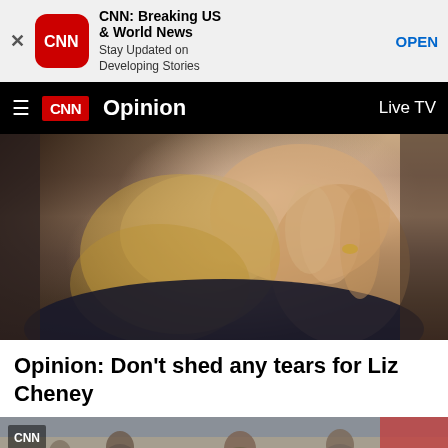[Figure (screenshot): App store advertisement banner for CNN: Breaking US & World News app with close button, CNN logo icon, app title, subtitle 'Stay Updated on Developing Stories', and OPEN button]
CNN Opinion  Live TV
[Figure (photo): Close-up photo of a blonde woman (Liz Cheney) with her hands clasped near her face, wearing a dark jacket and pearl necklace]
Opinion: Don't shed any tears for Liz Cheney
[Figure (photo): CNN video thumbnail showing people in what appears to be an indoor setting, with a CNN watermark logo in the upper left corner]